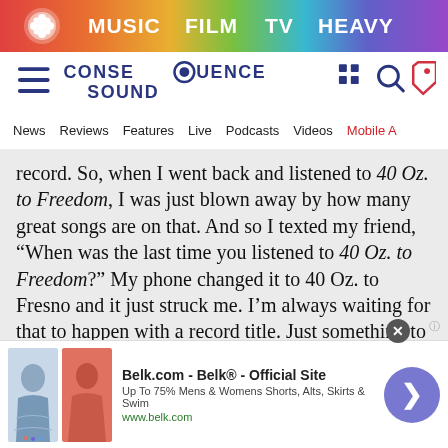[Figure (screenshot): Top gradient navigation bar with logo and MUSIC, FILM, TV, HEAVY links]
[Figure (logo): Consequence of Sound logo with hamburger menu, search and shop icons]
News   Reviews   Features   Live   Podcasts   Videos   Mobile A
record. So, when I went back and listened to 40 Oz. to Freedom, I was just blown away by how many great songs are on that. And so I texted my friend, “When was the last time you listened to 40 Oz. to Freedom?” My phone changed it to 40 Oz. to Fresno and it just struck me. I’m always waiting for that to happen with a record title. Just something to jump out at me. And we had a few for this one, but that one just felt right for whatever
[Figure (screenshot): Belk.com advertisement banner with clothing images and arrow button]